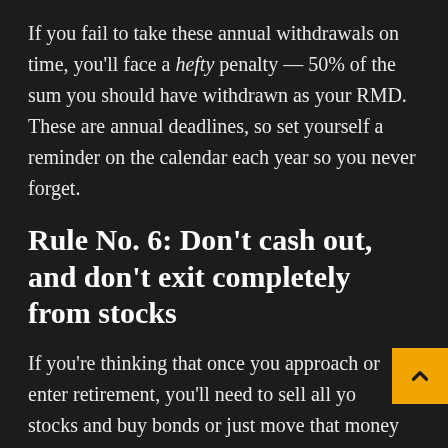If you fail to take these annual withdrawals on time, you'll face a hefty penalty — 50% of the sum you should have withdrawn as your RMD. These are annual deadlines, so set yourself a reminder on the calendar each year so you never forget.
Rule No. 6: Don't cash out, and don't exit completely from stocks
If you're thinking that once you approach or enter retirement, you'll need to sell all your stocks and buy bonds or just move that money